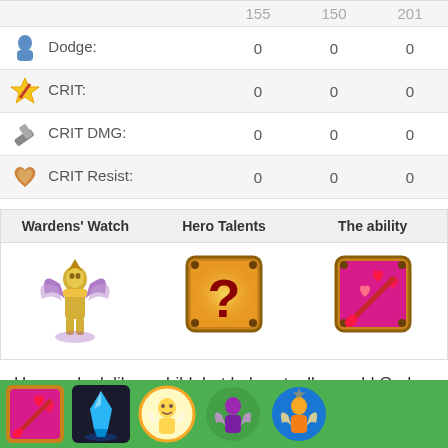|  | 155 | 150 | 201 |
| --- | --- | --- | --- |
| Dodge: | 0 | 0 | 0 |
| CRIT: | 0 | 0 | 0 |
| CRIT DMG: | 0 | 0 | 0 |
| CRIT Resist: | 0 | 0 | 0 |
| Wardens' Watch | Hero Talents | The ability |
| --- | --- | --- |
| [hero image] | [question mark icon] | [ability icon] |
He may look like a child, but he's actually an old God who decided to visit the mortal realm. He wanders about in aimless whimsy.
[Figure (illustration): Bottom strip showing 5 game icons: ability icon (pink/hearts), blue crystal tower, angel character, purple hero on green background, golden hero on blue background]